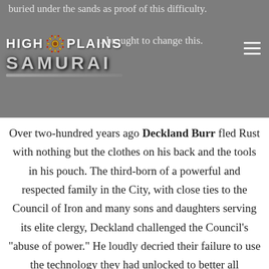buried under the sands as proof of this difficulty.
[Figure (logo): High Plains Samurai logo with gear icon and hamburger menu icon on gray background. Text reads 'HIGH PLAINS SAMURAI' with a decorative gear emblem. Also shows partial text '...brought to change this.']
Over two-hundred years ago Deckland Burr fled Rust with nothing but the clothes on his back and the tools in his pouch. The third-born of a powerful and respected family in the City, with close ties to the Council of Iron and many sons and daughters serving its elite clergy, Deckland challenged the Council's "abuse of power." He loudly decried their failure to use the technology they had unlocked to better all societies, not just those sworn to the Minister. For his heresy, he was jailed. Not only were his words dangerous,